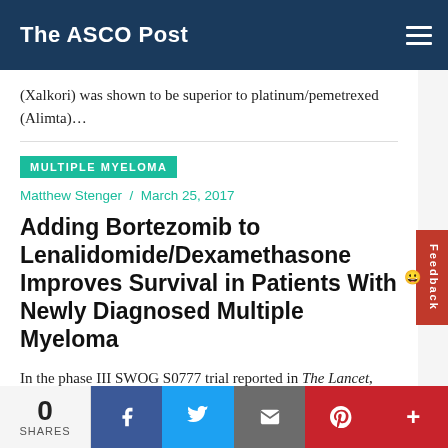The ASCO Post
(Xalkori) was shown to be superior to platinum/pemetrexed (Alimta)…
MULTIPLE MYELOMA
Matthew Stenger / March 25, 2017
Adding Bortezomib to Lenalidomide/Dexamethasone Improves Survival in Patients With Newly Diagnosed Multiple Myeloma
In the phase III SWOG S0777 trial reported in The Lancet, Brian G.M. Durie, MD, of Cedars-Sinai Samuel Oschin Cancer Center, and colleagues found that adding bortezomib (Velcade) to lenalidomide (Revlimid)/dexamethasone…